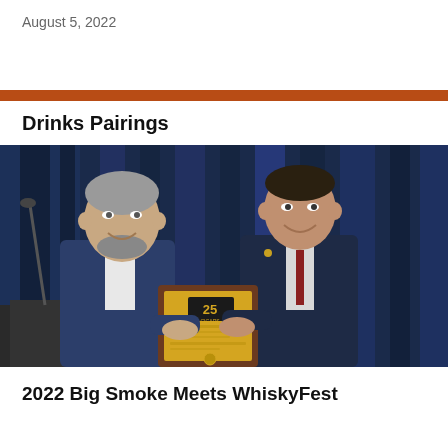August 5, 2022
Drinks Pairings
[Figure (photo): Two men in suits standing together, smiling, holding a wooden award plaque. Blue curtain backdrop. A microphone stand is visible on the left.]
2022 Big Smoke Meets WhiskyFest